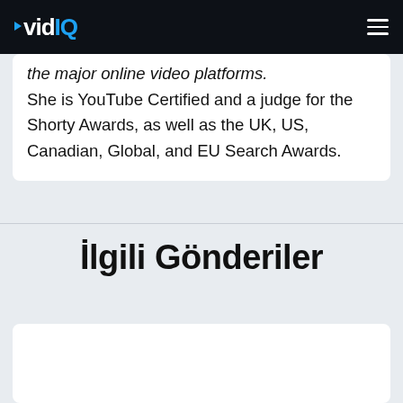vidIQ
the major online video platforms. She is YouTube Certified and a judge for the Shorty Awards, as well as the UK, US, Canadian, Global, and EU Search Awards.
İlgili Gönderiler